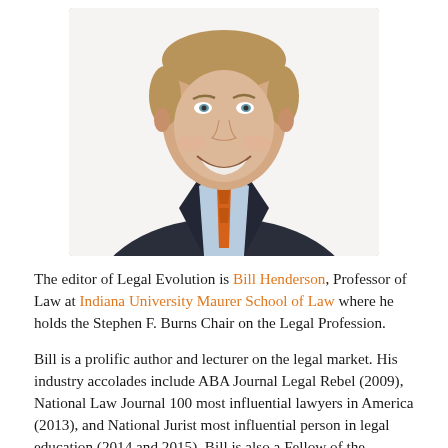[Figure (photo): Professional headshot of Bill Henderson, a middle-aged man with light brown hair, smiling broadly, wearing a dark suit jacket, light blue dress shirt, and orange patterned tie, against a white background.]
The editor of Legal Evolution is Bill Henderson, Professor of Law at Indiana University Maurer School of Law where he holds the Stephen F. Burns Chair on the Legal Profession.
Bill is a prolific author and lecturer on the legal market. His industry accolades include ABA Journal Legal Rebel (2009), National Law Journal 100 most influential lawyers in America (2013), and National Jurist most influential person in legal education (2014 and 2015). Bill is also a Fellow of the College of